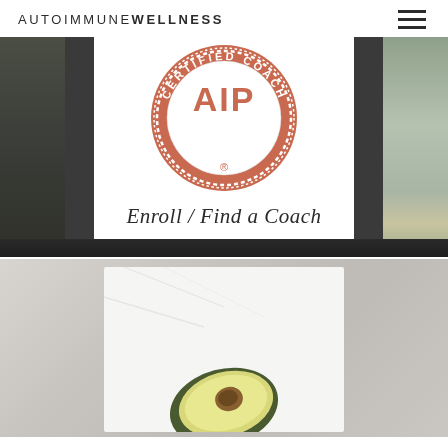AUTOIMMUNE WELLNESS
[Figure (logo): AIP Certified Coach circular badge logo in terracotta/salmon color with text 'AIP CERTIFIED COACH' around the circle, and 'Enroll / Find a Coach' in italic serif font below]
[Figure (photo): A photo of an avocado half on a marble/white surface, partially cut, showing yellow-green flesh, with a marble background]